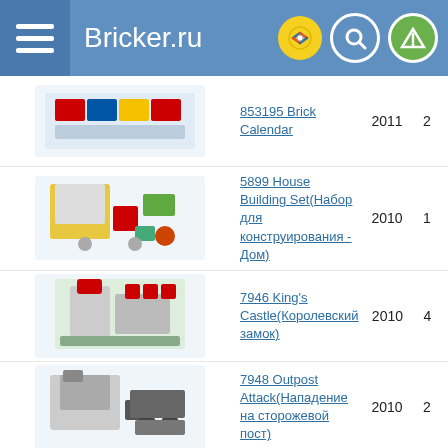Bricker.ru
853195 Brick Calendar
5899 House Building Set(Набор для конструирования - Дом)
7946 King's Castle(Королевский замок)
7948 Outpost Attack(Нападение на сторожевой пост)
9311 City Buildings Set
7636 Combine Harvester(Комбайн)
4999 Vestas Windmill